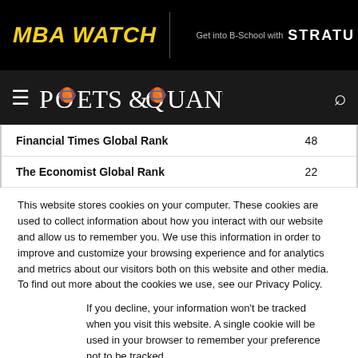MBA WATCH | Get into B-School with STRATU
[Figure (logo): Poets & Quants logo with navigation bar]
| Ranking | Value |
| --- | --- |
| Financial Times Global Rank | 48 |
| The Economist Global Rank | 22 |
This website stores cookies on your computer. These cookies are used to collect information about how you interact with our website and allow us to remember you. We use this information in order to improve and customize your browsing experience and for analytics and metrics about our visitors both on this website and other media. To find out more about the cookies we use, see our Privacy Policy.
If you decline, your information won't be tracked when you visit this website. A single cookie will be used in your browser to remember your preference not to be tracked.
Accept | Decline